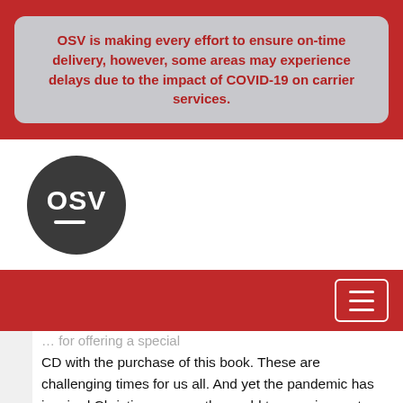OSV is making every effort to ensure on-time delivery, however, some areas may experience delays due to the impact of COVID-19 on carrier services.
[Figure (logo): OSV circular logo — dark gray circle with white text 'OSV' and a white underline bar]
[Figure (other): Red navigation bar with a white-bordered hamburger menu button on the right]
CD with the purchase of this book. These are challenging times for us all. And yet the pandemic has inspired Christians across the world to grow in greater love for one another and strengthen our bonds of prayer and friendship.